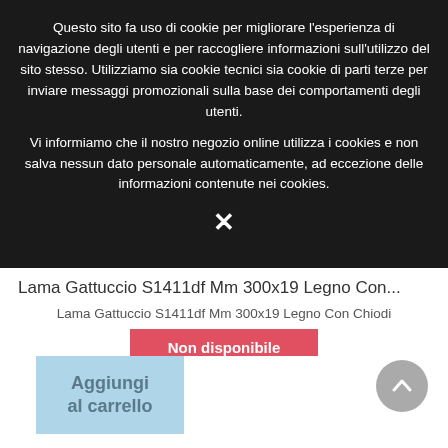Questo sito fa uso di cookie per migliorare l’esperienza di navigazione degli utenti e per raccogliere informazioni sull’utilizzo del sito stesso. Utilizziamo sia cookie tecnici sia cookie di parti terze per inviare messaggi promozionali sulla base dei comportamenti degli utenti.
Vi informiamo che il nostro negozio online utilizza i cookies e non salva nessun dato personale automaticamente, ad eccezione delle informazioni contenute nei cookies.
×
Lama Gattuccio S1411df Mm 300x19 Legno Con...
Lama Gattuccio S1411df Mm 300x19 Legno Con Chiodi
Non disponibile
2,05 €
Aggiungi al carrello